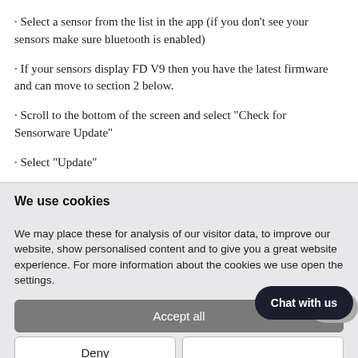· Select a sensor from the list in the app (if you don't see your sensors make sure bluetooth is enabled)
· If your sensors display FD V9 then you have the latest firmware and can move to section 2 below.
· Scroll to the bottom of the screen and select "Check for Sensorware Update"
· Select "Update"
We use cookies
We may place these for analysis of our visitor data, to improve our website, show personalised content and to give you a great website experience. For more information about the cookies we use open the settings.
Accept all
Deny
Chat with us